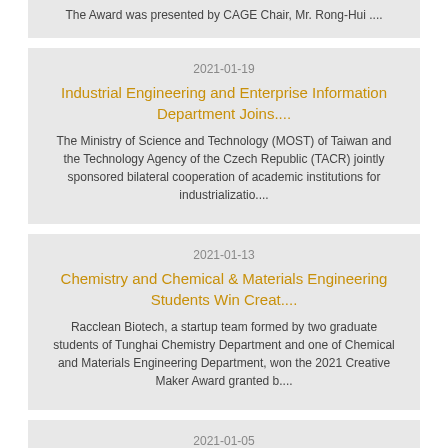The Award was presented by CAGE Chair, Mr. Rong-Hui ....
2021-01-19
Industrial Engineering and Enterprise Information Department Joins....
The Ministry of Science and Technology (MOST) of Taiwan and the Technology Agency of the Czech Republic (TACR) jointly sponsored bilateral cooperation of academic institutions for industrializatio....
2021-01-13
Chemistry and Chemical & Materials Engineering Students Win Creat....
Racclean Biotech, a startup team formed by two graduate students of Tunghai Chemistry Department and one of Chemical and Materials Engineering Department, won the 2021 Creative Maker Award granted b....
2021-01-05